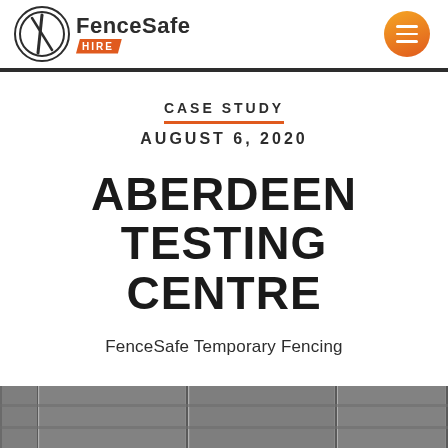[Figure (logo): FenceSafe Hire logo with circular emblem and orange HIRE badge, plus orange circular menu icon on the right]
CASE STUDY
AUGUST 6, 2020
ABERDEEN TESTING CENTRE
FenceSafe Temporary Fencing
[Figure (photo): Bottom strip showing grey temporary fencing panels]